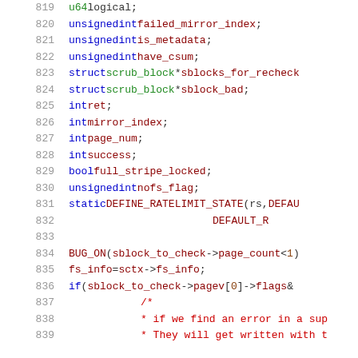[Figure (screenshot): Source code listing showing C struct fields and code lines numbered 819-839, with syntax highlighting. Keywords in blue, identifiers in dark red, comments in red.]